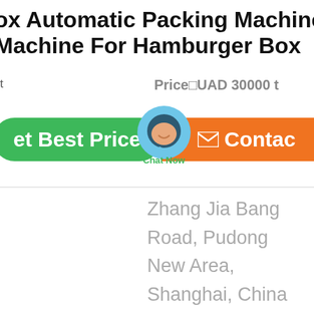box Automatic Packing Machine C Machine For Hamburger Box
Price UAD 30000 t
[Figure (screenshot): Green 'Get Best Price' button and orange 'Contact' button with a chat bubble overlay showing 'Chat Now']
Zhang Jia Bang Road, Pudong New Area, Shanghai, China